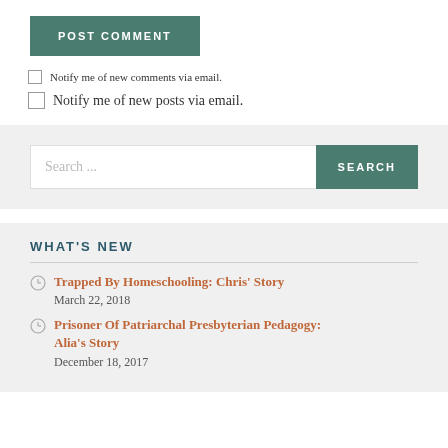POST COMMENT
Notify me of new comments via email.
Notify me of new posts via email.
Search ...
WHAT'S NEW
Trapped By Homeschooling: Chris' Story
March 22, 2018
Prisoner Of Patriarchal Presbyterian Pedagogy: Alia's Story
December 18, 2017